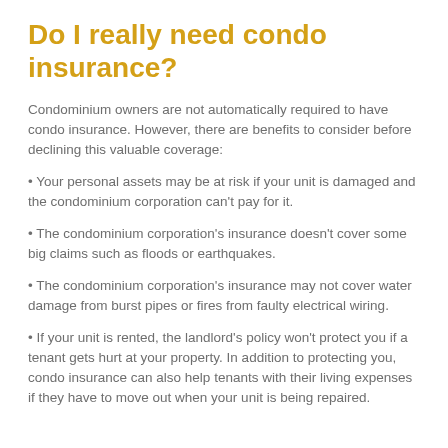Do I really need condo insurance?
Condominium owners are not automatically required to have condo insurance. However, there are benefits to consider before declining this valuable coverage:
Your personal assets may be at risk if your unit is damaged and the condominium corporation can't pay for it.
The condominium corporation's insurance doesn't cover some big claims such as floods or earthquakes.
The condominium corporation's insurance may not cover water damage from burst pipes or fires from faulty electrical wiring.
If your unit is rented, the landlord's policy won't protect you if a tenant gets hurt at your property. In addition to protecting you, condo insurance can also help tenants with their living expenses if they have to move out when your unit is being repaired.